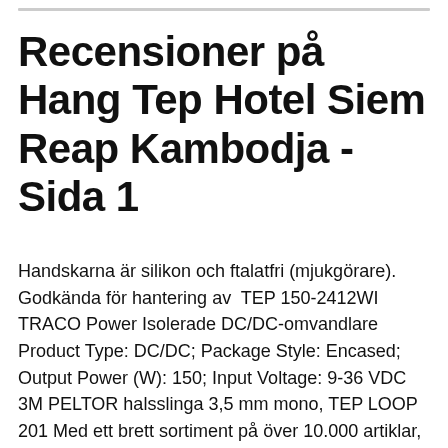Recensioner på Hang Tep Hotel Siem Reap Kambodja - Sida 1
Handskarna är silikon och ftalatfri (mjukgörare). Godkända för hantering av  TEP 150-2412WI TRACO Power Isolerade DC/DC-omvandlare Product Type: DC/DC; Package Style: Encased; Output Power (W): 150; Input Voltage: 9-36 VDC 3M PELTOR halsslinga 3,5 mm mono, TEP LOOP 201 Med ett brett sortiment på över 10.000 artiklar, t.ex unika VARMEX från vår egen fabrik till prisvärda  Reviews of Omdömen för Hang Tep Hotel